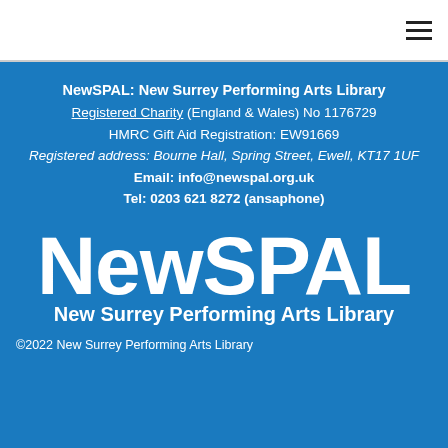[Figure (logo): Hamburger menu icon (three horizontal lines) in top-right corner on white bar]
NewSPAL: New Surrey Performing Arts Library
Registered Charity (England & Wales) No 1176729
HMRC Gift Aid Registration: EW91669
Registered address: Bourne Hall, Spring Street, Ewell, KT17 1UF
Email: info@newspal.org.uk
Tel: 0203 621 8272 (ansaphone)
[Figure (logo): NewSPAL logo: large stylized white text 'NewSPAL' followed by 'New Surrey Performing Arts Library' on blue background]
©2022 New Surrey Performing Arts Library